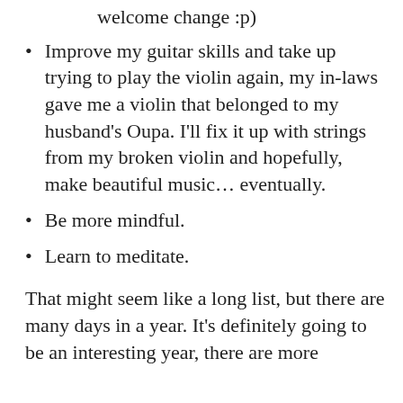welcome change :p)
Improve my guitar skills and take up trying to play the violin again, my in-laws gave me a violin that belonged to my husband's Oupa. I'll fix it up with strings from my broken violin and hopefully, make beautiful music... eventually.
Be more mindful.
Learn to meditate.
That might seem like a long list, but there are many days in a year. It's definitely going to be an interesting year, there are more